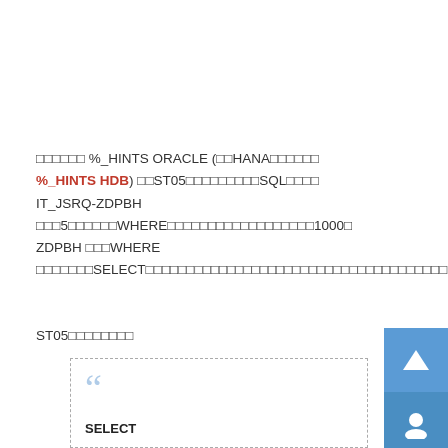□□□□□□ %_HINTS ORACLE (□□HANA□□□□□□ %_HINTS HDB) □□ST05□□□□□□□□□SQL□□□□ IT_JSRQ-ZDPBH □□□5□□□□□□WHERE□□□□□□□□□□□□□□□□□□1000□ ZDPBH □□□WHERE □□□□□□□SELECT□□□□□□□□□□□□□□□□□□□□□□□□□□□□□□□□□□□□□
ST05□□□□□□□□
SELECT
"VBELN","ZVBELP","GMYHQ","SJCDL